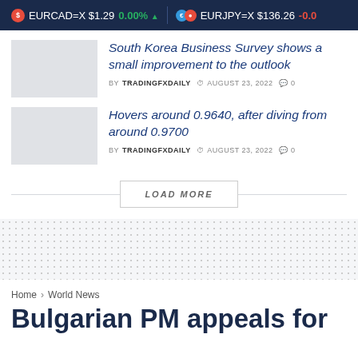EURCAD=X $1.29  0.00% ▲  EURJPY=X $136.26 -0.04
South Korea Business Survey shows a small improvement to the outlook
BY TRADINGFXDAILY  AUGUST 23, 2022  0
Hovers around 0.9640, after diving from around 0.9700
BY TRADINGFXDAILY  AUGUST 23, 2022  0
LOAD MORE
Home › World News
Bulgarian PM appeals for